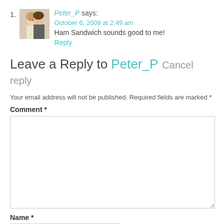1. Peter_P says: October 6, 2009 at 2:49 am — Ham Sandwich sounds good to me! Reply
Leave a Reply to Peter_P Cancel reply
Your email address will not be published. Required fields are marked *
Comment *
Name *